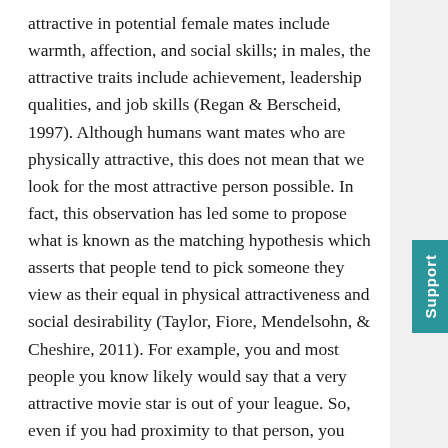attractive in potential female mates include warmth, affection, and social skills; in males, the attractive traits include achievement, leadership qualities, and job skills (Regan & Berscheid, 1997). Although humans want mates who are physically attractive, this does not mean that we look for the most attractive person possible. In fact, this observation has led some to propose what is known as the matching hypothesis which asserts that people tend to pick someone they view as their equal in physical attractiveness and social desirability (Taylor, Fiore, Mendelsohn, & Cheshire, 2011). For example, you and most people you know likely would say that a very attractive movie star is out of your league. So, even if you had proximity to that person, you likely would not ask them out on a date because you believe you likely would be rejected. People weigh a potential partner's attractiveness against the likelihood of success with that person. If you think